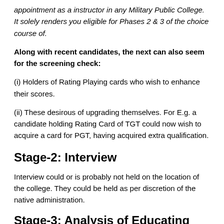appointment as a instructor in any Military Public College. It solely renders you eligible for Phases 2 & 3 of the choice course of.
Along with recent candidates, the next can also seem for the screening check:
(i) Holders of Rating Playing cards who wish to enhance their scores.
(ii) These desirous of upgrading themselves. For E.g. a candidate holding Rating Card of TGT could now wish to acquire a card for PGT, having acquired extra qualification.
Stage-2: Interview
Interview could or is probably not held on the location of the college. They could be held as per discretion of the native administration.
Stage-3: Analysis of Educating